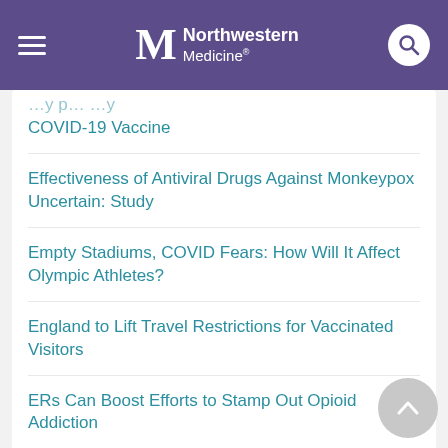Northwestern Medicine
…y p… …y COVID-19 Vaccine
Effectiveness of Antiviral Drugs Against Monkeypox Uncertain: Study
Empty Stadiums, COVID Fears: How Will It Affect Olympic Athletes?
England to Lift Travel Restrictions for Vaccinated Visitors
ERs Can Boost Efforts to Stamp Out Opioid Addiction
EU Drug Regulator OKs Pfizer COVID-19 Vaccine Booster Shots
EU Passes U.S. in COVID Vaccination Rates
EU Says Europe Out of 'Emergency' Phase of